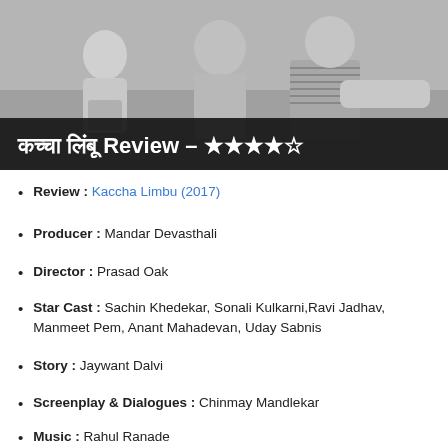[Figure (photo): Black and white photo of people sitting together, with a dark banner overlay reading 'कच्चा लिंबू Review - ★★★★☆']
Review : Kaccha Limbu (2017)
Producer : Mandar Devasthali
Director : Prasad Oak
Star Cast : Sachin Khedekar, Sonali Kulkarni,Ravi Jadhav, Manmeet Pem, Anant Mahadevan, Uday Sabnis
Story : Jaywant Dalvi
Screenplay & Dialogues : Chinmay Mandlekar
Music : Rahul Ranade